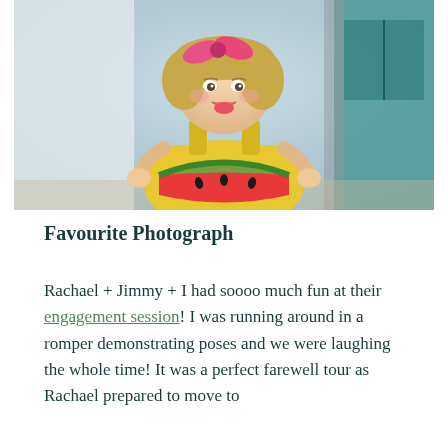[Figure (photo): A young girl with curly blonde hair and a pink bow, wearing a yellow dress, holding a slice of watermelon and making a funny face. Background shows white curtain and teal/green structure.]
Favourite Photograph
Rachael + Jimmy + I had soooo much fun at their engagement session! I was running around in a romper demonstrating poses and we were laughing the whole time! It was a perfect farewell tour as Rachael prepared to move to